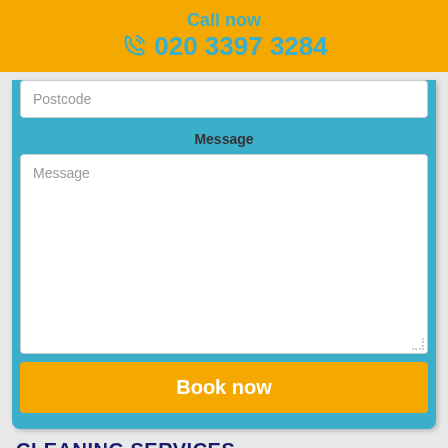Call now 020 3397 3284
Postcode
Message
Message
Book now
CLEANING SERVICES
UPHOLSTERY CLEANING